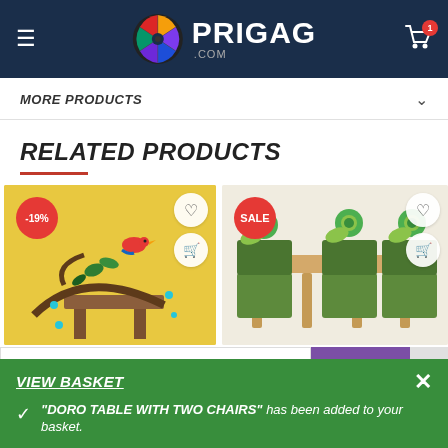PRIGAG.COM
MORE PRODUCTS
RELATED PRODUCTS
[Figure (photo): Yellow children's table with colorful bird/tree design, showing -19% badge and cart/wishlist action buttons]
[Figure (photo): Green children's table and chairs with snail/caterpillar design, showing SALE badge and cart/wishlist action buttons]
Enter Your Pincode
CHECK
VIEW BASKET
"DORO TABLE WITH TWO CHAIRS" has been added to your basket.